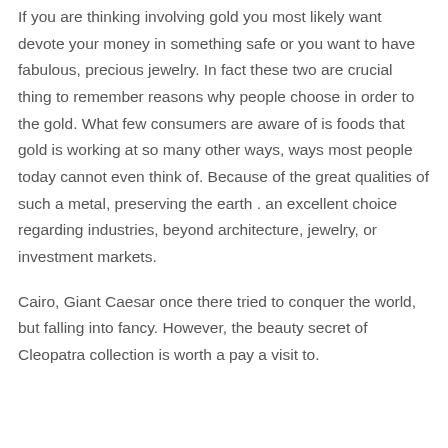If you are thinking involving gold you most likely want devote your money in something safe or you want to have fabulous, precious jewelry. In fact these two are crucial thing to remember reasons why people choose in order to the gold. What few consumers are aware of is foods that gold is working at so many other ways, ways most people today cannot even think of. Because of the great qualities of such a metal, preserving the earth . an excellent choice regarding industries, beyond architecture, jewelry, or investment markets.
Cairo, Giant Caesar once there tried to conquer the world, but falling into fancy. However, the beauty secret of Cleopatra collection is worth a pay a visit to.